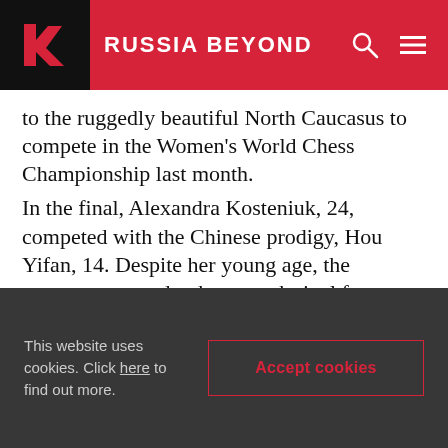RUSSIA BEYOND
to the ruggedly beautiful North Caucasus to compete in the Women's World Chess Championship last month.
In the final, Alexandra Kosteniuk, 24, competed with the Chinese prodigy, Hou Yifan, 14. Despite her young age, the opponent proved to be a tough rival for Kosteniuk, who managed to win only the first game, with the remaining three ending in a draw.
At the closing, Kosteniuk wore a regional costume, a gesture that touched locals, according to press reports.
This website uses cookies. Click here to find out more.